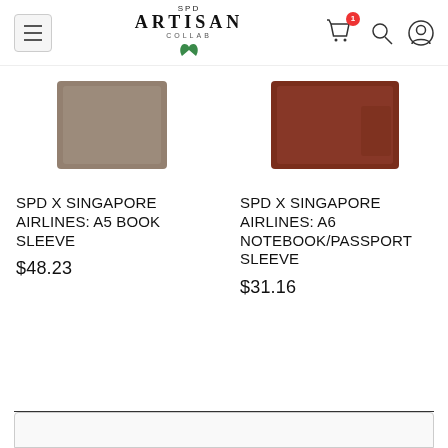SPD ARTISAN COLLAB
[Figure (photo): Taupe/grey leather A5 book sleeve product image]
SPD X SINGAPORE AIRLINES: A5 BOOK SLEEVE
$48.23
[Figure (photo): Brown/burgundy leather A6 notebook/passport sleeve product image]
SPD X SINGAPORE AIRLINES: A6 NOTEBOOK/PASSPORT SLEEVE
$31.16